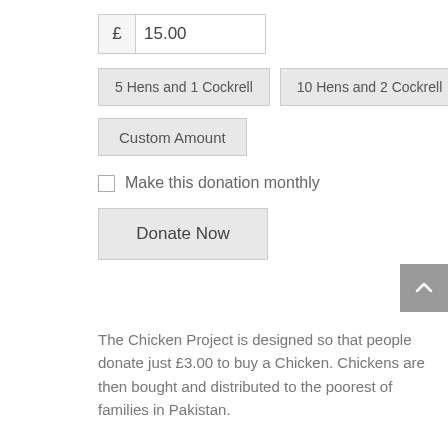£  15.00
5 Hens and 1 Cockrell
10 Hens and 2 Cockrell
Custom Amount
Make this donation monthly
Donate Now
The Chicken Project is designed so that people donate just £3.00 to buy a Chicken. Chickens are then bought and distributed to the poorest of families in Pakistan.